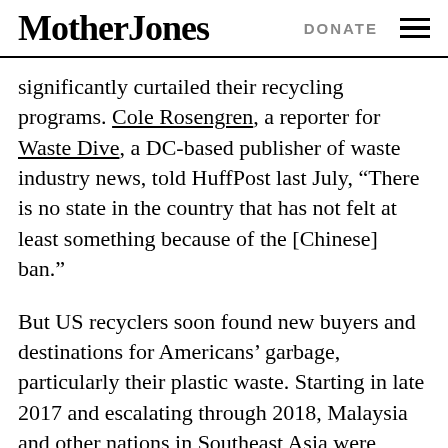Mother Jones | DONATE
significantly curtailed their recycling programs. Cole Rosengren, a reporter for Waste Dive, a DC-based publisher of waste industry news, told HuffPost last July, “There is no state in the country that has not felt at least something because of the [Chinese] ban.”
But US recyclers soon found new buyers and destinations for Americans’ garbage, particularly their plastic waste. Starting in late 2017 and escalating through 2018, Malaysia and other nations in Southeast Asia were flooded with recyclable plastics from the US. The region’s imports from other developed nations like the UK, Germany,